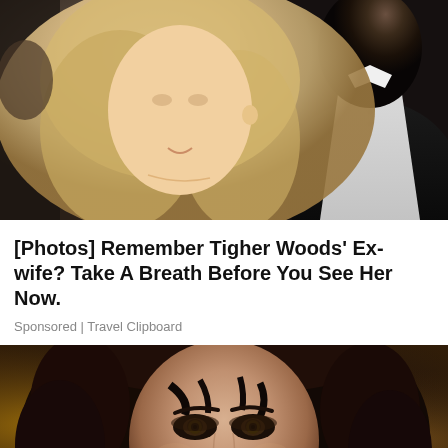[Figure (photo): A blonde woman and a man in a tuxedo with bow tie, photographed together at a formal event]
[Photos] Remember Tigher Woods' Ex-wife? Take A Breath Before You See Her Now.
Sponsored | Travel Clipboard
[Figure (photo): Close-up portrait of a woman with dark curly hair and dramatic eye makeup against a warm golden background]